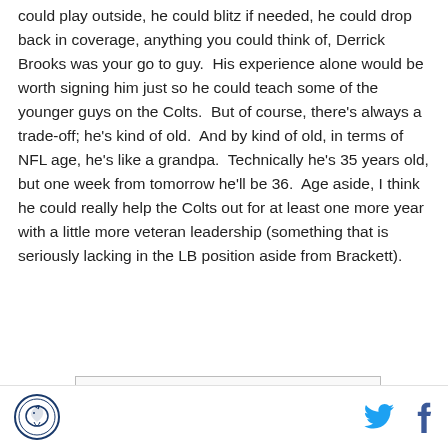could play outside, he could blitz if needed, he could drop back in coverage, anything you could think of, Derrick Brooks was your go to guy.  His experience alone would be worth signing him just so he could teach some of the younger guys on the Colts.  But of course, there's always a trade-off; he's kind of old.  And by kind of old, in terms of NFL age, he's like a grandpa.  Technically he's 35 years old, but one week from tomorrow he'll be 36.  Age aside, I think he could really help the Colts out for at least one more year with a little more veteran leadership (something that is seriously lacking in the LB position aside from Brackett).
[Figure (other): Partially visible image box with border]
Site logo, Twitter icon, Facebook icon